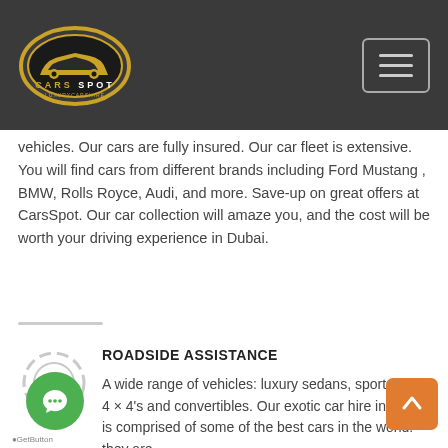Cars Spot - Luxury Car Hire
vehicles. Our cars are fully insured. Our car fleet is extensive. You will find cars from different brands including Ford Mustang , BMW, Rolls Royce, Audi, and more. Save-up on great offers at CarsSpot. Our car collection will amaze you, and the cost will be worth your driving experience in Dubai.
ROADSIDE ASSISTANCE
A wide range of vehicles: luxury sedans, sports cars, 4 × 4's and convertibles. Our exotic car hire in Dubai is comprised of some of the best cars in the world. they are